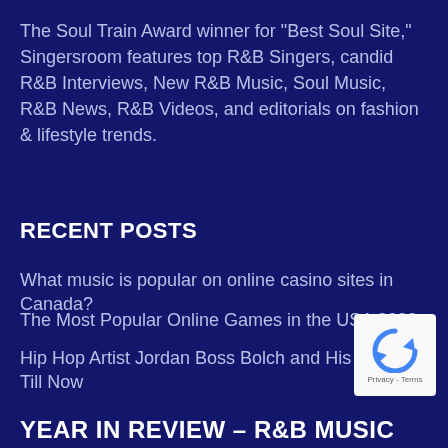The Soul Train Award winner for "Best Soul Site," Singersroom features top R&B Singers, candid R&B Interviews, New R&B Music, Soul Music, R&B News, R&B Videos, and editorials on fashion & lifestyle trends.
RECENT POSTS
What music is popular on online casino sites in Canada?
The Most Popular Online Games in the USA 2022
Hip Hop Artist Jordan Boss Bolch and His Work Up Till Now
[Figure (other): reCAPTCHA privacy badge with recycle-arrow icon and Privacy - Terms text]
YEAR IN REVIEW – R&B MUSIC